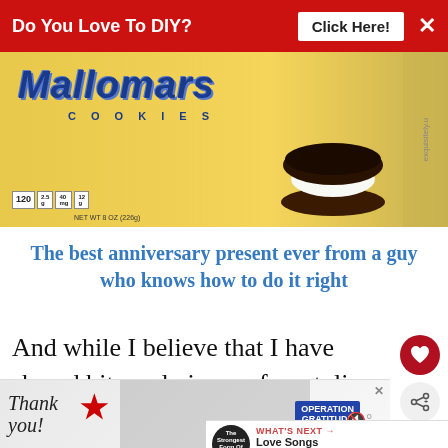[Figure (infographic): Red advertisement banner at top reading 'Do You Love To DIY?' with a 'Click Here!' button and an X close button]
[Figure (photo): Mallomars cookies box with yellow background, blue Mallomars logo, cookies shown in foreground, nutrition facts visible]
The best anniversary present ever from a guy who knows how to do it right
And while I believe that I have shared bits and pieces of my tulip past, I don't think I have ever told the full story of how or why I fell in love with them.
[Figure (infographic): Bottom advertisement banner with 'Thank you!' text, Operation Gratitude branding, and military imagery]